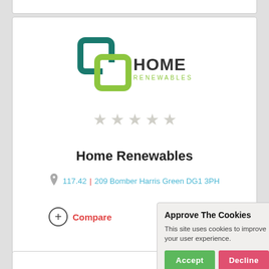[Figure (logo): Home Renewables logo with teal and green overlapping square leaf shapes and company name 'HOME RENEWABLES']
[Figure (other): Five empty/unfilled star rating icons in light grey]
Home Renewables
117.42 | 209 Bomber Harris Green DG1 3PH
Compare
[Figure (screenshot): Cookie consent banner overlay: 'Approve The Cookies' with Accept and Decline buttons and Cookie policy link]
[Figure (illustration): Orange house/building icon visible at bottom of page]